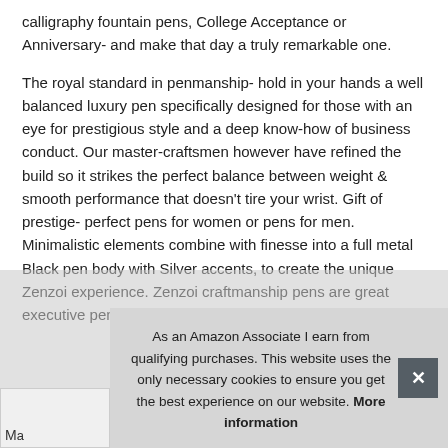calligraphy fountain pens, College Acceptance or Anniversary- and make that day a truly remarkable one.
The royal standard in penmanship- hold in your hands a well balanced luxury pen specifically designed for those with an eye for prestigious style and a deep know-how of business conduct. Our master-craftsmen however have refined the build so it strikes the perfect balance between weight & smooth performance that doesn't tire your wrist. Gift of prestige- perfect pens for women or pens for men. Minimalistic elements combine with finesse into a full metal Black pen body with Silver accents, to create the unique Zenzoi experience. Zenzoi craftmanship pens are great executive pens, Christmas, or just a fine pen gift set
As an Amazon Associate I earn from qualifying purchases. This website uses the only necessary cookies to ensure you get the best experience on our website. More information